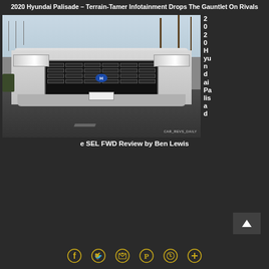2020 Hyundai Palisade – Terrain-Tamer Infotainment Drops The Gauntlet On Rivals
[Figure (photo): Front-facing view of a silver 2020 Hyundai Palisade SUV parked near a marina with palm trees in the background. Watermark reads car_revs_daily.]
2020 Hyundai Palisade SEL FWD Review by Ben Lewis
Social share icons: Facebook, Twitter, Email, Pinterest, WhatsApp, Plus